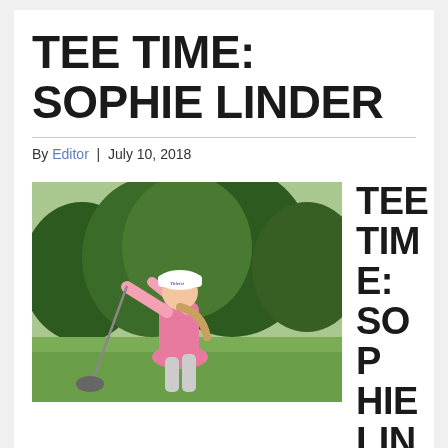TEE TIME: SOPHIE LINDER
By Editor | July 10, 2018
[Figure (photo): Young female golfer in pink shirt and white Titleist cap mid-swing with driver on a golf course with green trees in background]
TEE TIME: SOPHIE LINDER